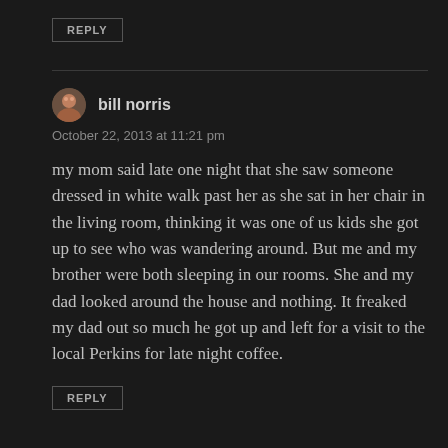REPLY
bill norris
October 22, 2013 at 11:21 pm
my mom said late one night that she saw someone dressed in white walk past her as she sat in her chair in the living room, thinking it was one of us kids she got up to see who was wandering around. But me and my brother were both sleeping in our rooms. She and my dad looked around the house and nothing. It freaked my dad out so much he got up and left for a visit to the local Perkins for late night coffee.
REPLY